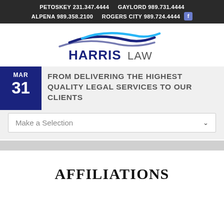PETOSKEY 231.347.4444   GAYLORD 989.731.4444   ALPENA 989.358.2100   ROGERS CITY 989.724.4444
[Figure (logo): Harris Law logo with wave graphic above text reading HARRIS LAW]
MAR 31 — FROM DELIVERING THE HIGHEST QUALITY LEGAL SERVICES TO OUR CLIENTS
Make a Selection
AFFILIATIONS